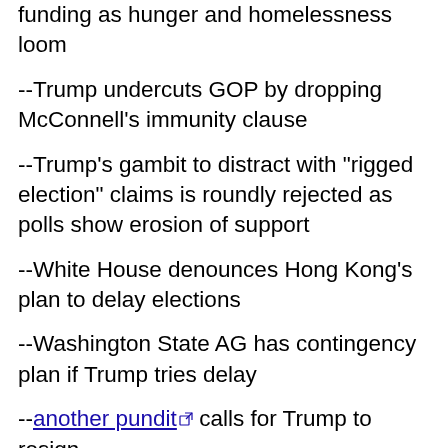funding as hunger and homelessness loom
--Trump undercuts GOP by dropping McConnell's immunity clause
--Trump's gambit to distract with "rigged election" claims is roundly rejected as polls show erosion of support
--White House denounces Hong Kong's plan to delay elections
--Washington State AG has contingency plan if Trump tries delay
--another pundit calls for Trump to resign
--in latest well-targeted video satire